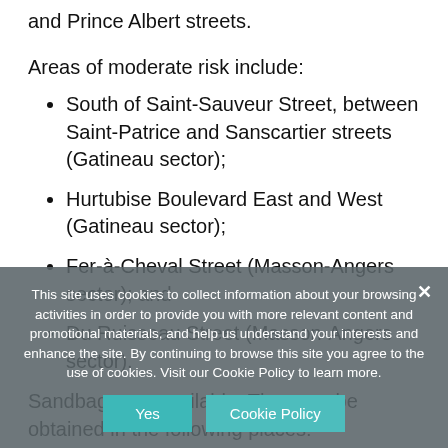and Prince Albert streets.
Areas of moderate risk include:
South of Saint-Sauveur Street, between Saint-Patrice and Sanscartier streets (Gatineau sector);
Hurtubise Boulevard East and West (Gatineau sector);
Fer-à-Cheval Street (Masson-Angers sector); and
Du Ruisseau Street (Masson-Angers sector).
Sandbags are available. They can be obtained in the following places:
Intersection of Cartier and Rapides
This site uses cookies to collect information about your browsing activities in order to provide you with more relevant content and promotional materials, and help us understand your interests and enhance the site. By continuing to browse this site you agree to the use of cookies. Visit our Cookie Policy to learn more.